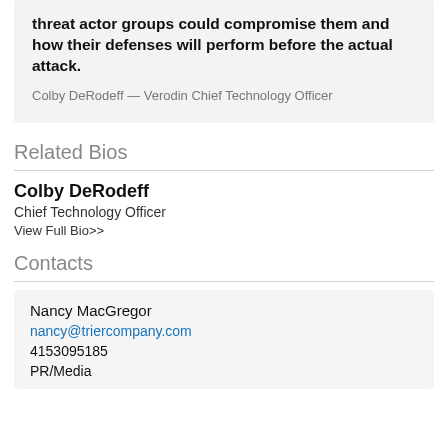threat actor groups could compromise them and how their defenses will perform before the actual attack.
Colby DeRodeff — Verodin Chief Technology Officer
Related Bios
Colby DeRodeff
Chief Technology Officer
View Full Bio>>
Contacts
Nancy MacGregor
nancy@triercompany.com
4153095185
PR/Media